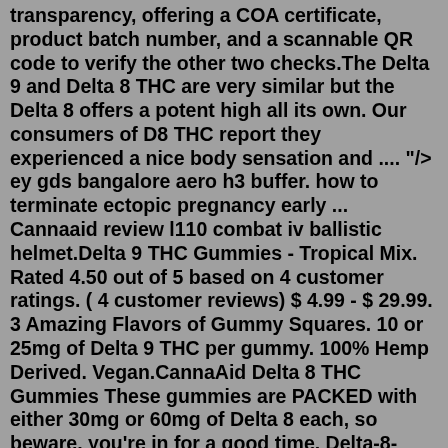transparency, offering a COA certificate, product batch number, and a scannable QR code to verify the other two checks.The Delta 9 and Delta 8 THC are very similar but the Delta 8 offers a potent high all its own. Our consumers of D8 THC report they experienced a nice body sensation and .... "/> ey gds bangalore aero h3 buffer. how to terminate ectopic pregnancy early ... Cannaaid review l110 combat iv ballistic helmet.Delta 9 THC Gummies - Tropical Mix. Rated 4.50 out of 5 based on 4 customer ratings. ( 4 customer reviews) $ 4.99 - $ 29.99. 3 Amazing Flavors of Gummy Squares. 10 or 25mg of Delta 9 THC per gummy. 100% Hemp Derived. Vegan.CannaAid Delta 8 THC Gummies These gummies are PACKED with either 30mg or 60mg of Delta 8 each, so beware, you're in for a good time. Delta-8-tetrahydrocannabinol, also known as Δ8THC, is one of the many cannabinoids that occur in cannabis plants. Think of it as the younger brother of the more famous THC, the …Delta-9 THC Berry Shot offers one of the most convenient ways to consume